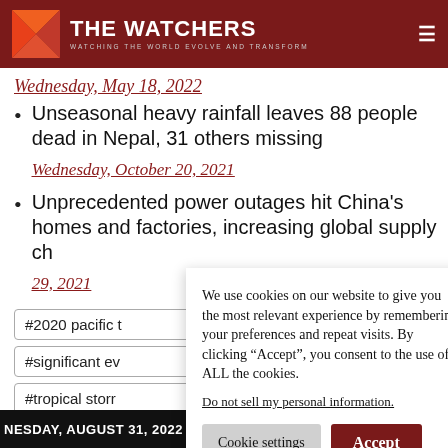THE WATCHERS — WATCHING THE WORLD EVOLVE AND TRANSFORM
Wednesday, May 18, 2022
Unseasonal heavy rainfall leaves 88 people dead in Nepal, 31 others missing Wednesday, October 20, 2021
Unprecedented power outages hit China's homes and factories, increasing global supply ch... 29, 2021
#2020 pacific t
#significant ev
#tropical storr
We use cookies on our website to give you the most relevant experience by remembering your preferences and repeat visits. By clicking “Accept”, you consent to the use of ALL the cookies.
Do not sell my personal information.
NESDAY, AUGUST 31, 2022 AT 08:39 UTC. MINIMUM DISTAN